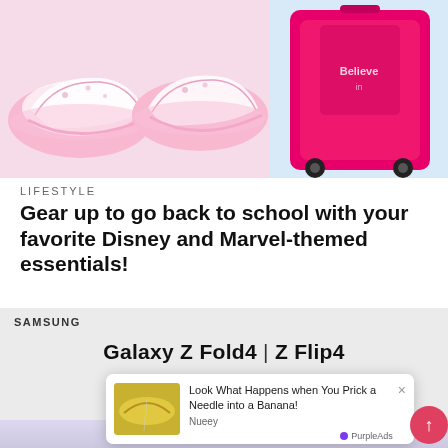[Figure (photo): Top portion of page showing pink sneakers/shoes on the left and a pink Disney Frozen rolling luggage suitcase on the right]
LIFESTYLE
Gear up to go back to school with your favorite Disney and Marvel-themed essentials!
[Figure (screenshot): Samsung advertisement showing 'Galaxy Z Fold4 | Z Flip4' on a light gray background]
[Figure (photo): Pop-up ad overlay: 'Look What Happens when You Prick a Needle into a Banana!' by Nueey, with PurpleAds branding]